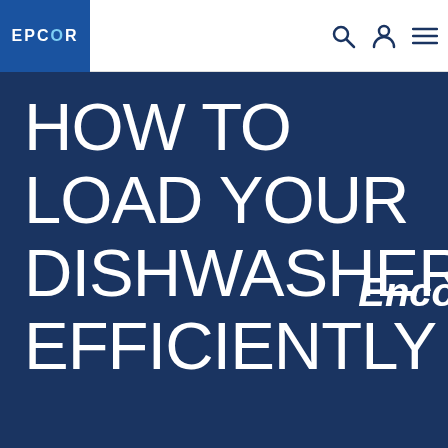EPCOR
[Figure (illustration): Hero banner with dark navy blue background showing large white uppercase text: HOW TO LOAD YOUR DISHWASHER EFFICIENTLY, with partial italic bold white text 'Enco' on the right side]
The best way to load a dishwasher for
Did you know that the way you load your dishwasher can ma efficient? It's true! It can also impact how often you need to r that haven't come out squeaky clean the first time. Here's ho load your dishwasher to keep it working at its best.